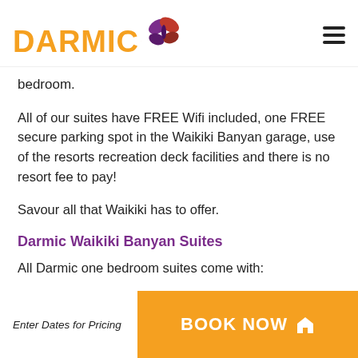[Figure (logo): Darmic logo with orange text and purple butterfly graphic]
bedroom.
All of our suites have FREE Wifi included, one FREE secure parking spot in the Waikiki Banyan garage, use of the resorts recreation deck facilities and there is no resort fee to pay!
Savour all that Waikiki has to offer.
Darmic Waikiki Banyan Suites
All Darmic one bedroom suites come with:
Occupancy for 4 people.  Darmic suites sleep up to 4 people using existing bedding
Enter Dates for Pricing   BOOK NOW